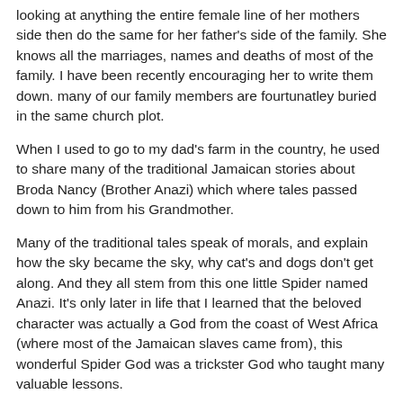looking at anything the entire female line of her mothers side then do the same for her father's side of the family. She knows all the marriages, names and deaths of most of the family. I have been recently encouraging her to write them down. many of our family members are fourtunatley buried in the same church plot.
When I used to go to my dad's farm in the country, he used to share many of the traditional Jamaican stories about Broda Nancy (Brother Anazi) which where tales passed down to him from his Grandmother.
Many of the traditional tales speak of morals, and explain how the sky became the sky, why cat's and dogs don't get along. And they all stem from this one little Spider named Anazi. It's only later in life that I learned that the beloved character was actually a God from the coast of West Africa (where most of the Jamaican slaves came from), this wonderful Spider God was a trickster God who taught many valuable lessons.
My love of turning a great tale comes from those moments of